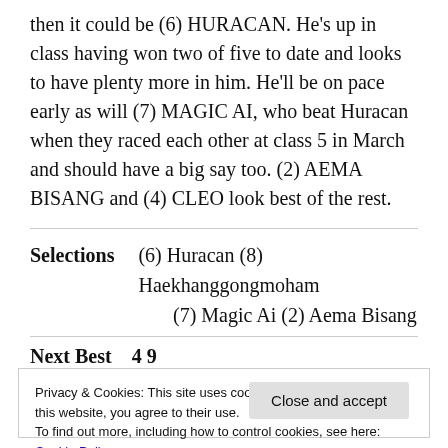then it could be (6) HURACAN. He's up in class having won two of five to date and looks to have plenty more in him. He'll be on pace early as will (7) MAGIC AI, who beat Huracan when they raced each other at class 5 in March and should have a big say too. (2) AEMA BISANG and (4) CLEO look best of the rest.
Selections    (6) Huracan (8) Haekhanggongmoham
(7) Magic Ai (2) Aema Bisang
Next Best    4 9
Privacy & Cookies: This site uses cookies. By continuing to use this website, you agree to their use.
To find out more, including how to control cookies, see here: Cookie Policy